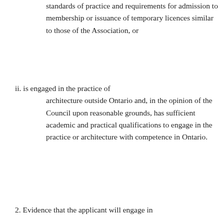standards of practice and requirements for admission to membership or issuance of temporary licences similar to those of the Association, or
ii. is engaged in the practice of architecture outside Ontario and, in the opinion of the Council upon reasonable grounds, has sufficient academic and practical qualifications to engage in the practice or architecture with competence in Ontario.
2. Evidence that the applicant will engage in